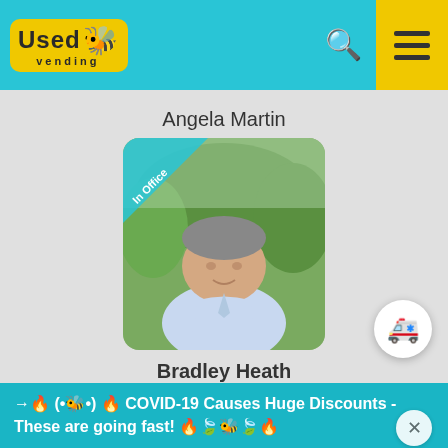[Figure (screenshot): UsedVending website navigation bar with logo, search icon, and menu button on a teal background]
Angela Martin
[Figure (photo): Photo of Bradley Heath, a middle-aged man in a light blue shirt outdoors, with an 'In Office' ribbon banner]
Bradley Heath
[Figure (photo): Partial photo of another person with an 'In Office' ribbon banner]
→🔥 (•🐝•) 🔥 COVID-19 Causes Huge Discounts - These are going fast! 🔥🍃🐝🍃🔥